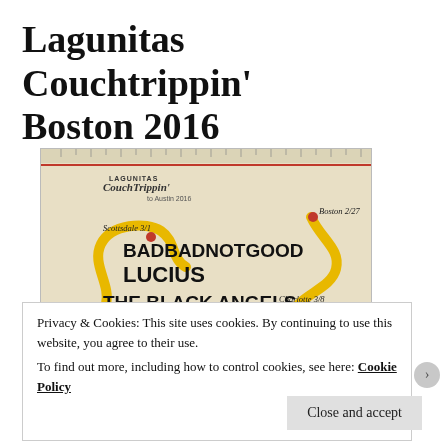Lagunitas Couchtrippin' Boston 2016
[Figure (illustration): Concert poster for Lagunitas Couchtrippin' tour showing a US map with city stops (Boston 2/27, Scottsdale 3/1, Charlotte 3/8, Denver 3/10, Atlanta 3/5, Austin) connected by a yellow winding road, with a van/bus illustration. Artists listed: BADBADNOTGOOD, LUCIUS, THE BLACK ANGELS, DAN DEACON, WHITE DENIM.]
Privacy & Cookies: This site uses cookies. By continuing to use this website, you agree to their use.
To find out more, including how to control cookies, see here: Cookie Policy
Close and accept